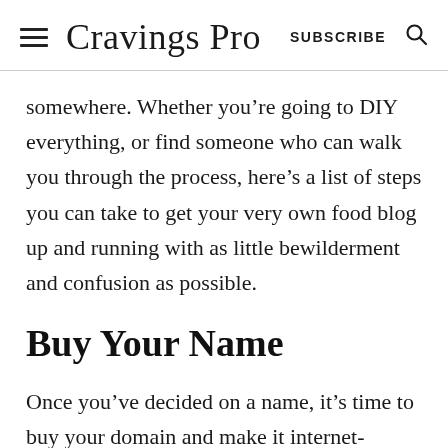Cravings Pro  SUBSCRIBE
somewhere. Whether you’re going to DIY everything, or find someone who can walk you through the process, here’s a list of steps you can take to get your very own food blog up and running with as little bewilderment and confusion as possible.
Buy Your Name
Once you’ve decided on a name, it’s time to buy your domain and make it internet-